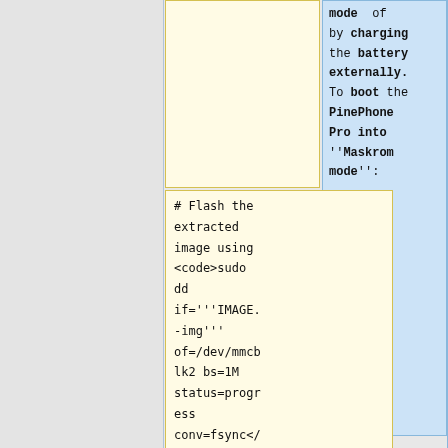mode of by charging the battery externally. To boot the PinePhone Pro into ''Maskrom mode'':
# Flash the extracted image using <code>sudo dd if='''IMAGE.-img''' of=/dev/mmcblk2 bs=1M status=progress conv=fsync</code>